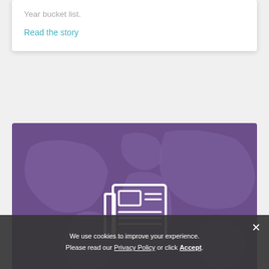Year bucket list.
Read the story
[Figure (illustration): Purple world map background with a white newspaper/document icon centered on it]
We use cookies to improve your experience. Please read our Privacy Policy or click Accept.